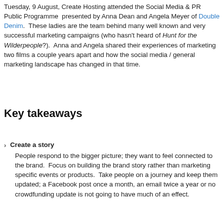Tuesday, 9 August, Create Hosting attended the Social Media & PR Public Programme  presented by Anna Dean and Angela Meyer of Double Denim.  These ladies are the team behind many well known and very successful marketing campaigns (who hasn't heard of Hunt for the Wilderpeople?).  Anna and Angela shared their experiences of marketing two films a couple years apart and how the social media / general marketing landscape has changed in that time.
Key takeaways
Create a story
People respond to the bigger picture; they want to feel connected to the brand.  Focus on building the brand story rather than marketing specific events or products.  Take people on a journey and keep them updated; a Facebook post once a month, an email twice a year or no crowdfunding update is not going to have much of an effect.